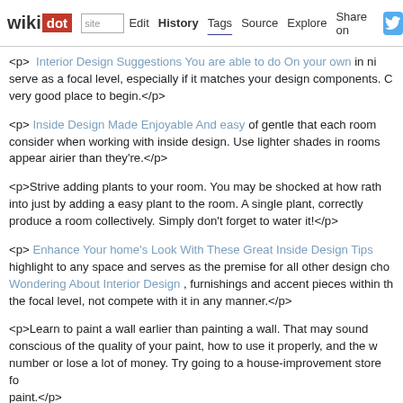wikidot | site | Edit | History | Tags | Source | Explore | Share on [Twitter]
<p> Interior Design Suggestions You are able to do On your own in ni... serve as a focal level, especially if it matches your design components. C... very good place to begin.</p>
<p> Inside Design Made Enjoyable And easy of gentle that each room ... consider when working with inside design. Use lighter shades in rooms... appear airier than they're.</p>
<p>Strive adding plants to your room. You may be shocked at how rath... into just by adding a easy plant to the room. A single plant, correctly ... produce a room collectively. Simply don't forget to water it!</p>
<p> Enhance Your home's Look With These Great Inside Design Tips... highlight to any space and serves as the premise for all other design cho... Wondering About Interior Design , furnishings and accent pieces within t... the focal level, not compete with it in any manner.</p>
<p>Learn to paint a wall earlier than painting a wall. That may sound ... conscious of the quality of your paint, how to use it properly, and the w... number or lose a lot of money. Try going to a house-improvement store f... paint.</p>
<p>If you're creating a room for a child, think about what they'd like a... Children should not capable of see a room quite the way in which you... thing. Make the room safe from potential hazards by placing yourself in yo...
<p>One quick strategy to replace a room is concentrating on the acces... fixtures and flower arrangements are all easily changed. Put in contem... coll...